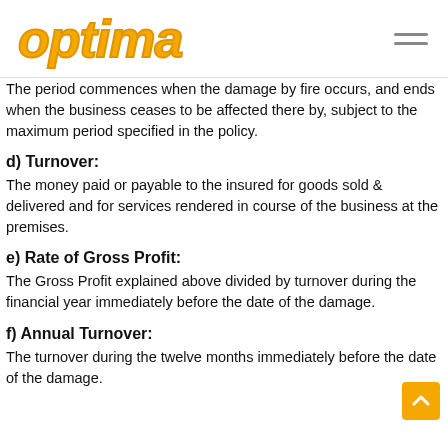optima
The period commences when the damage by fire occurs, and ends when the business ceases to be affected there by, subject to the maximum period specified in the policy.
d) Turnover:
The money paid or payable to the insured for goods sold & delivered and for services rendered in course of the business at the premises.
e) Rate of Gross Profit:
The Gross Profit explained above divided by turnover during the financial year immediately before the date of the damage.
f) Annual Turnover:
The turnover during the twelve months immediately before the date of the damage.